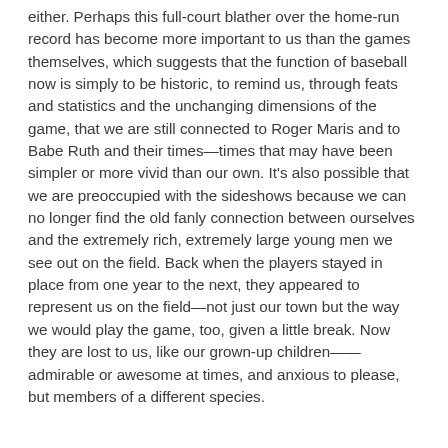either. Perhaps this full-court blather over the home-run record has become more important to us than the games themselves, which suggests that the function of baseball now is simply to be historic, to remind us, through feats and statistics and the unchanging dimensions of the game, that we are still connected to Roger Maris and to Babe Ruth and their times—times that may have been simpler or more vivid than our own. It's also possible that we are preoccupied with the sideshows because we can no longer find the old fanly connection between ourselves and the extremely rich, extremely large young men we see out on the field. Back when the players stayed in place from one year to the next, they appeared to represent us on the field—not just our town but the way we would play the game, too, given a little break. Now they are lost to us, like our grown-up children——admirable or awesome at times, and anxious to please, but members of a different species.